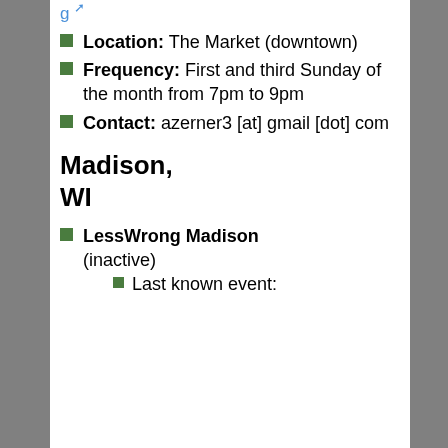g (link)
Location: The Market (downtown)
Frequency: First and third Sunday of the month from 7pm to 9pm
Contact: azerner3 [at] gmail [dot] com
Madison, WI
LessWrong Madison (inactive)
Last known event: